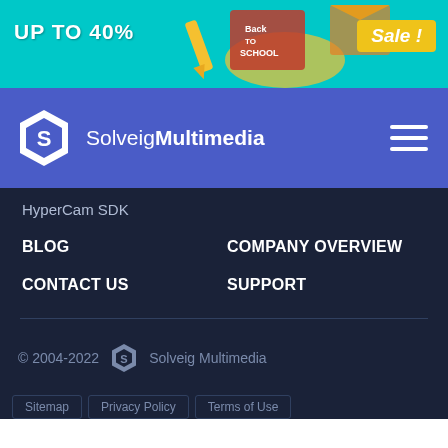[Figure (illustration): Back to School sale banner with 'UP TO 40%' text, school books and stationery illustration, and 'Sale!' badge on teal background]
[Figure (logo): SolveigMultimedia logo with hexagonal icon and navigation hamburger menu on blue/indigo navbar]
HyperCam SDK
BLOG
COMPANY OVERVIEW
CONTACT US
SUPPORT
© 2004-2022  Solveig Multimedia
Sitemap   Privacy Policy   Terms of Use